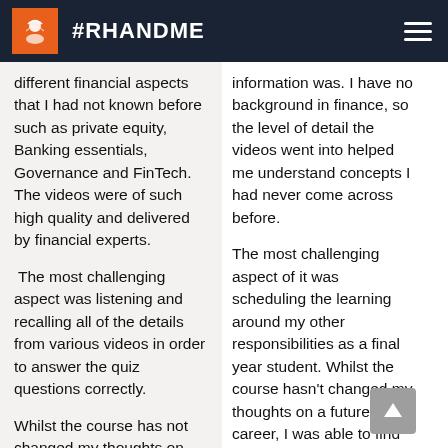#RHANDME
different financial aspects that I had not known before such as private equity, Banking essentials, Governance and FinTech. The videos were of such high quality and delivered by financial experts.
The most challenging aspect was listening and recalling all of the details from various videos in order to answer the quiz questions correctly.
Whilst the course has not changed my thoughts on my future career plans, it
information was. I have no background in finance, so the level of detail the videos went into helped me understand concepts I had never come across before.
The most challenging aspect of it was scheduling the learning around my other responsibilities as a final year student. Whilst the course hasn't changed my thoughts on a future career, I was able to find pathways within the course, outside of the compulsory ones, that could benefit me in the career path I